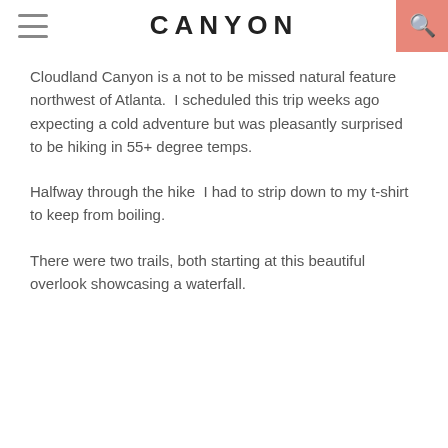CANYON
Cloudland Canyon is a not to be missed natural feature northwest of Atlanta.  I scheduled this trip weeks ago expecting a cold adventure but was pleasantly surprised to be hiking in 55+ degree temps.
Halfway through the hike  I had to strip down to my t-shirt to keep from boiling.
There were two trails, both starting at this beautiful overlook showcasing a waterfall.